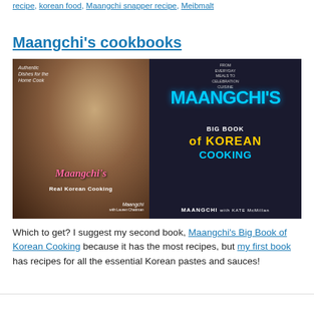recipe, korean food, Maangchi snapper recipe, Meibmalt
Maangchi's cookbooks
[Figure (photo): Two cookbook covers side by side: 'Maangchi's Real Korean Cooking' (left) and 'Maangchi's Big Book of Korean Cooking' (right)]
Which to get? I suggest my second book, Maangchi's Big Book of Korean Cooking because it has the most recipes, but my first book has recipes for all the essential Korean pastes and sauces!